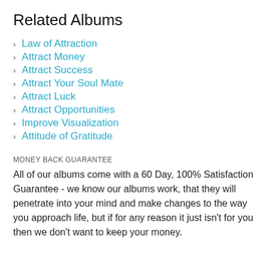Related Albums
Law of Attraction
Attract Money
Attract Success
Attract Your Soul Mate
Attract Luck
Attract Opportunities
Improve Visualization
Attitude of Gratitude
MONEY BACK GUARANTEE
All of our albums come with a 60 Day, 100% Satisfaction Guarantee - we know our albums work, that they will penetrate into your mind and make changes to the way you approach life, but if for any reason it just isn't for you then we don't want to keep your money.